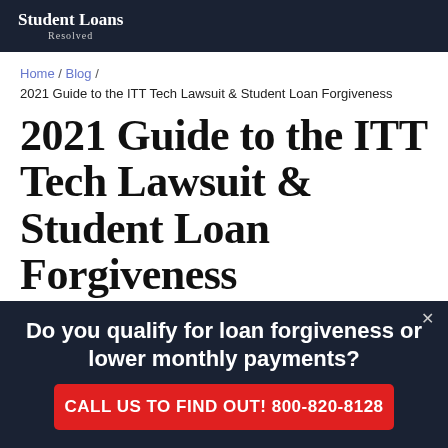Student Loans Resolved
Home / Blog /
2021 Guide to the ITT Tech Lawsuit & Student Loan Forgiveness
2021 Guide to the ITT Tech Lawsuit & Student Loan Forgiveness
SLR | Published: March 14th, 2019 | Updated: December 26th, 2020
[Figure (photo): Outdoor photo showing green trees and foliage]
Do you qualify for loan forgiveness or lower monthly payments?
CALL US TO FIND OUT! 800-820-8128